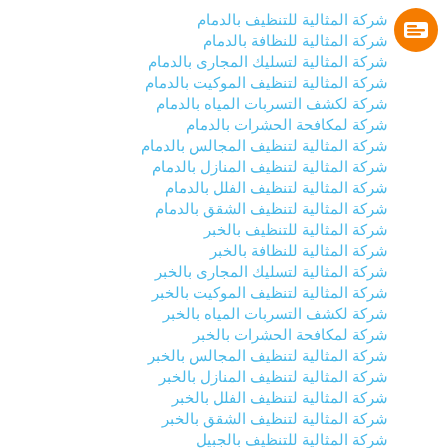[Figure (logo): Orange circular Blogger logo icon]
شركة المثالية للتنظيف بالدمام
شركة المثالية للنظافة بالدمام
شركة المثالية لتسليك المجارى بالدمام
شركة المثالية لتنظيف الموكيت بالدمام
شركة لكشف التسربات المياه بالدمام
شركة لمكافحة الحشرات بالدمام
شركة المثالية لتنظيف المجالس بالدمام
شركة المثالية لتنظيف المنازل بالدمام
شركة المثالية لتنظيف الفلل بالدمام
شركة المثالية لتنظيف الشقق بالدمام
شركة المثالية للتنظيف بالخبر
شركة المثالية للنظافة بالخبر
شركة المثالية لتسليك المجارى بالخبر
شركة المثالية لتنظيف الموكيت بالخبر
شركة لكشف التسربات المياه بالخبر
شركة لمكافحة الحشرات بالخبر
شركة المثالية لتنظيف المجالس بالخبر
شركة المثالية لتنظيف المنازل بالخبر
شركة المثالية لتنظيف الفلل بالخبر
شركة المثالية لتنظيف الشقق بالخبر
شركة المثالية للتنظيف بالجبيل
شركة المثالية للنظافة بالجبيل